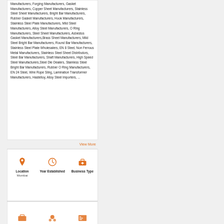Manufacturers, Forging Manufacturers, Gasket Manufacturers, Copper Sheet Manufacturers, Stainless Steel Sheet Manufacturers, Bright Bar Manufacturers, Rubber Gasket Manufacturers, Hook Manufacturers, Stainless Steel Plate Manufacturers, Mild Steel Manufacturers, Alloy Steel Manufacturers, O Ring Manufacturers, Steel Sheet Manufacturers, Asbestos Gasket Manufacturers, Brass Sheet Manufacturers, Mild Steel Bright Bar Manufacturers, Round Bar Manufacturers, Stainless Steel Plate Wholesalers, EN 8 Steel, Non Ferrous Metal Manufacturers, Stainless Steel Sheet Distributors, Steel Bar Manufacturers, Shaft Manufacturers, High Speed Steel Manufacturers, Steel Die Dealers, Stainless Steel Bright Bar Manufacturers, Rubber O Ring Manufacturers, EN 24 Steel, Wire Rope Sling, Lamination Transformer Manufacturers, Hastelloy, Alloy Steel Importers, ...
View More
[Figure (infographic): Three info icons in a row: Location (map pin icon, orange) with value Mumbai; Year Established (clock icon, orange) with no value shown; Business Type (briefcase icon, orange) with no value shown.]